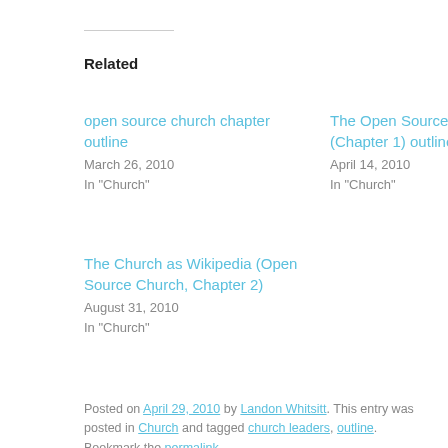Related
open source church chapter outline
March 26, 2010
In "Church"
The Open Source Church (Chapter 1) outline
April 14, 2010
In "Church"
The Church as Wikipedia (Open Source Church, Chapter 2)
August 31, 2010
In "Church"
Posted on April 29, 2010 by Landon Whitsitt. This entry was posted in Church and tagged church leaders, outline. Bookmark the permalink.
← My publisher:     WANTED: Stories of